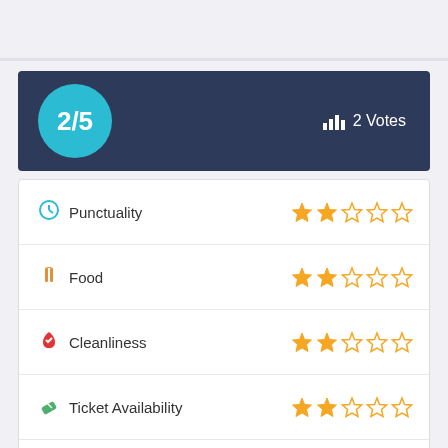[Figure (infographic): Rating widget showing 2/5 score with 2 votes, and category ratings for Punctuality, Food, Cleanliness, Ticket Availability, Safety each showing 2 stars out of 5 in orange]
2/5
2 Votes
Punctuality
Food
Cleanliness
Ticket Availability
Safety
Rate this Train